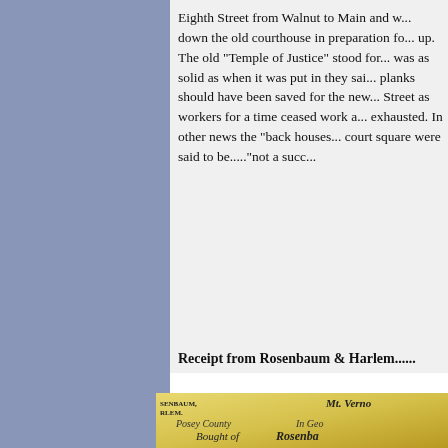Eighth Street from Walnut to Main and w... down the old courthouse in preparation fo... up. The old "Temple of Justice" stood for... was as solid as when it was put in they sai... planks should have been saved for the new... Street as workers for a time ceased work a... exhausted. In other news the "back houses... court square were said to be...."not a succ...
Receipt from Rosenbaum & Harlem......
[Figure (photo): A historical receipt from Rosenbaum & Harlem, a merchant business in Mt. Vernon, showing text including 'FOREIGN AND DOMESTIC', 'Clothing, Boots and Shoes', Posey County, and handwritten entries mentioning Mrs Aldridge and calico fabric.]